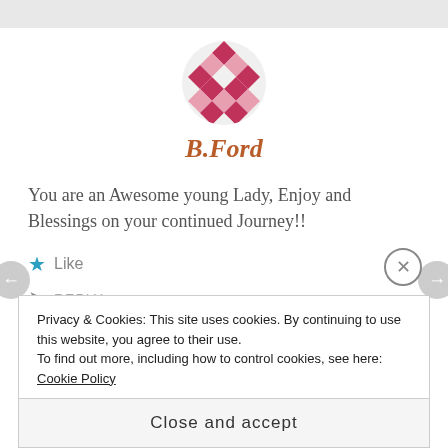[Figure (logo): Decorative geometric/quilted circular logo in pink/crimson diamond patterns]
B.Ford
You are an Awesome young Lady, Enjoy and Blessings on your continued Journey!!
★ Like
↪ REPLY
MAY 31, 2014 AT 2:35 AM
Privacy & Cookies: This site uses cookies. By continuing to use this website, you agree to their use.
To find out more, including how to control cookies, see here: Cookie Policy
Close and accept